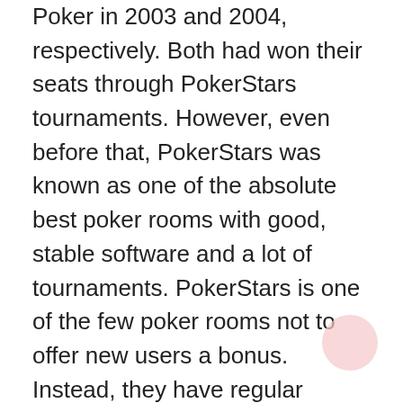Poker in 2003 and 2004, respectively. Both had won their seats through PokerStars tournaments. However, even before that, PokerStars was known as one of the absolute best poker rooms with good, stable software and a lot of tournaments. PokerStars is one of the few poker rooms not to offer new users a bonus. Instead, they have regular bonuses (about four a year) for existing users, where the bonus tends to be 20% up to $120. Check out www.pokerstars.se to see their current offer.
Software and graphics